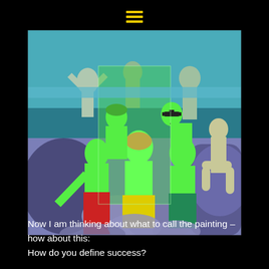[Figure (illustration): A painting showing multiple figures (men) posed on rocky terrain near water. The central group of figures is rendered in bright green/lime color tones with colorful swimwear (yellow, green, red shorts). There is a transparent rectangle overlay on the central group. The background features blue-grey rocks and a teal ocean/sea. The overall style is a large-scale figurative painting with bold colors.]
Now I am thinking about what to call the painting – how about this:
How do you define success?